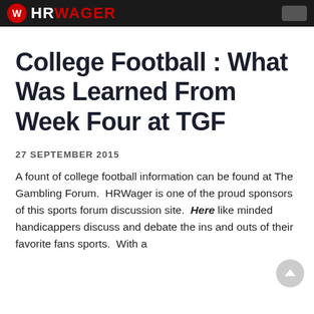HRWAGER
College Football : What Was Learned From Week Four at TGF
27 SEPTEMBER 2015
A fount of college football information can be found at The Gambling Forum.  HRWager is one of the proud sponsors of this sports forum discussion site.  Here like minded handicappers discuss and debate the ins and outs of their favorite fans sports.  With a